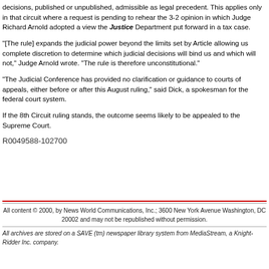decisions, published or unpublished, admissible as legal precedent. This applies only in that circuit where a request is pending to rehear the 3-2 opinion in which Judge Richard Arnold adopted a view the Justice Department put forward in a tax case.
"[The rule] expands the judicial power beyond the limits set by Article allowing us complete discretion to determine which judicial decisions will bind us and which will not," Judge Arnold wrote. "The rule is therefore unconstitutional."
"The Judicial Conference has provided no clarification or guidance to courts of appeals, either before or after this August ruling," said Dick, a spokesman for the federal court system.
If the 8th Circuit ruling stands, the outcome seems likely to be appealed to the Supreme Court.
R0049588-102700
All content © 2000, by News World Communications, Inc.; 3600 New York Avenue Washington, DC 20002 and may not be republished without permission.
All archives are stored on a SAVE (tm) newspaper library system from MediaStream, a Knight-Ridder Inc. company.